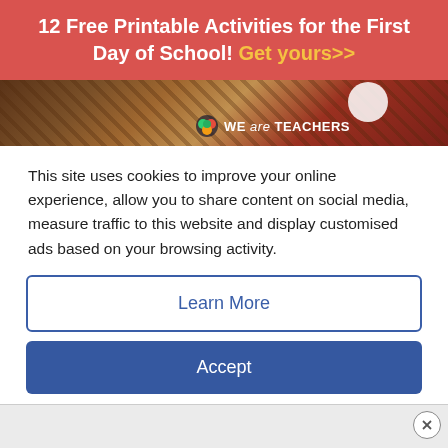12 Free Printable Activities for the First Day of School! Get yours>>
[Figure (photo): Cropped image of a classroom scene with WE are TEACHERS logo overlay]
This site uses cookies to improve your online experience, allow you to share content on social media, measure traffic to this website and display customised ads based on your browsing activity.
Learn More
Accept
[Figure (infographic): Advertisement bar at bottom: Book a Same Day Appointment - Hair Cuttery, with Facebook and other social icons]